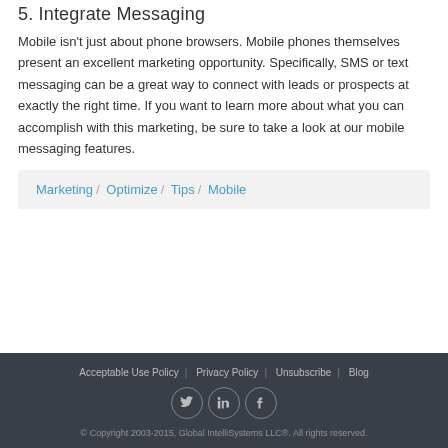5. Integrate Messaging
Mobile isn't just about phone browsers. Mobile phones themselves present an excellent marketing opportunity. Specifically, SMS or text messaging can be a great way to connect with leads or prospects at exactly the right time. If you want to learn more about what you can accomplish with this marketing, be sure to take a look at our mobile messaging features.
Marketing / Optimize / Tips / Mobile
Acceptable Use Policy | Privacy Policy | Unsubscribe | Blog
© Copyright 2003-2015, Global IntelliSystems LLC®. All rights reserved.